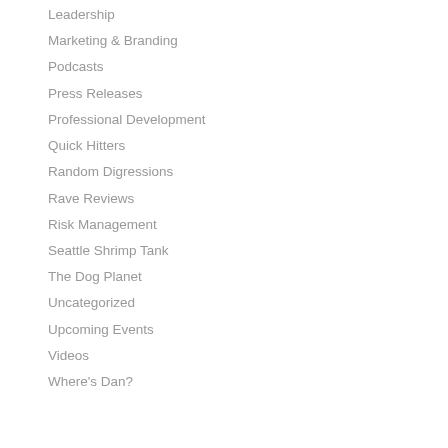Leadership
Marketing & Branding
Podcasts
Press Releases
Professional Development
Quick Hitters
Random Digressions
Rave Reviews
Risk Management
Seattle Shrimp Tank
The Dog Planet
Uncategorized
Upcoming Events
Videos
Where's Dan?